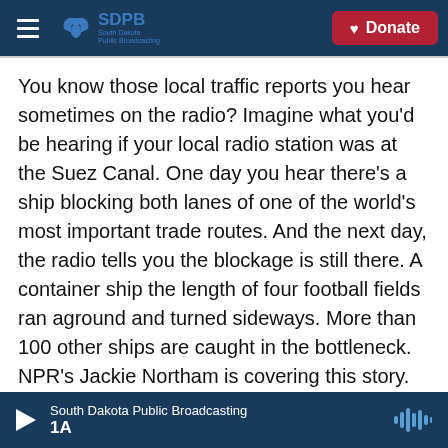SDPB South Dakota Public Broadcasting | Donate
You know those local traffic reports you hear sometimes on the radio? Imagine what you'd be hearing if your local radio station was at the Suez Canal. One day you hear there's a ship blocking both lanes of one of the world's most important trade routes. And the next day, the radio tells you the blockage is still there. A container ship the length of four football fields ran aground and turned sideways. More than 100 other ships are caught in the bottleneck. NPR's Jackie Northam is covering this story. Jackie, good morning.
JACKIE NORTHAM, BYLINE: Good morning, Steve
South Dakota Public Broadcasting | 1A